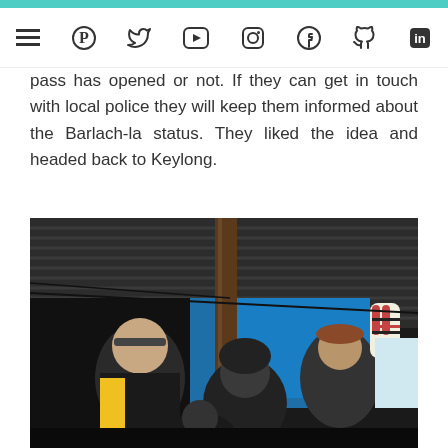Navigation bar with social media icons: menu, Pinterest, Twitter, YouTube, Instagram, Facebook, GitHub, LinkedIn
pass has opened or not. If they can get in touch with local police they will keep them informed about the Barlach-la status. They liked the idea and headed back to Keylong.
[Figure (photo): Indoor photo of people gathered under a corrugated metal roof structure with a wooden pole support. Blue tarpaulin visible in background. People wearing winter clothing including hats and scarves. Traditional patterned mittens hanging on the right side.]